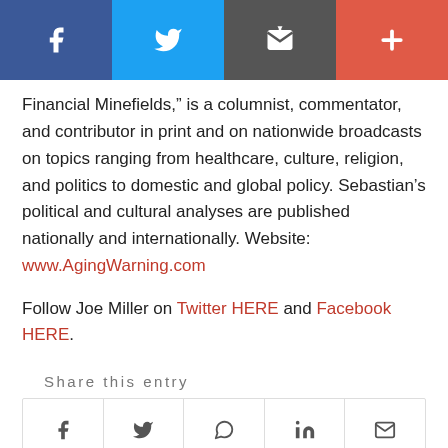[Figure (other): Top social sharing bar with Facebook (blue), Twitter (light blue), Email (dark grey), and More/Plus (red/orange) icons]
Financial Minefields,” is a columnist, commentator, and contributor in print and on nationwide broadcasts on topics ranging from healthcare, culture, religion, and politics to domestic and global policy. Sebastian’s political and cultural analyses are published nationally and internationally. Website: www.AgingWarning.com
Follow Joe Miller on Twitter HERE and Facebook HERE.
Share this entry
[Figure (other): Bottom social sharing icon row with Facebook, Twitter, WhatsApp, LinkedIn, and Email icons in a bordered box]